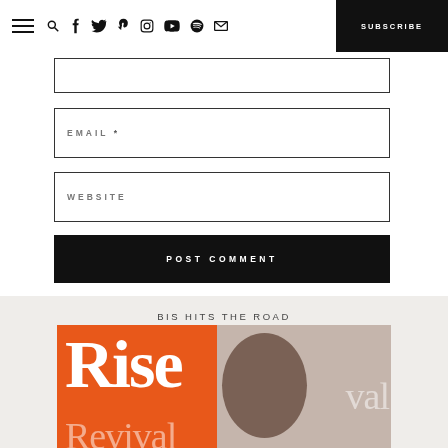Navigation bar with hamburger menu, social icons (search, facebook, twitter, pinterest, instagram, youtube, spotify, email), and SUBSCRIBE button
EMAIL *
WEBSITE
POST COMMENT
BIS HITS THE ROAD
[Figure (photo): Rise Revival album/promo cover with orange background, large white serif text reading 'Rise' and translucent 'Revival' text, with a portrait silhouette]